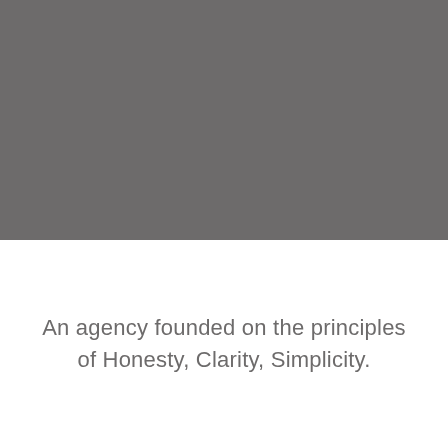[Figure (photo): Large gray rectangular image placeholder occupying the top half of the page]
An agency founded on the principles of Honesty, Clarity, Simplicity.